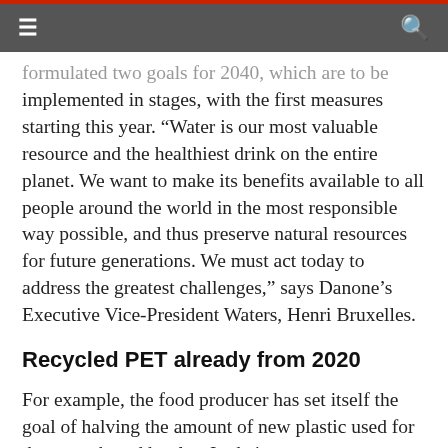Navigation bar with hamburger menu and search icon
formulated two goals for 2040, which are to be implemented in stages, with the first measures starting this year. “Water is our most valuable resource and the healthiest drink on the entire planet. We want to make its benefits available to all people around the world in the most responsible way possible, and thus preserve natural resources for future generations. We must act today to address the greatest challenges,” says Danone’s Executive Vice-President Waters, Henri Bruxelles.
Recycled PET already from 2020
For example, the food producer has set itself the goal of halving the amount of new plastic used for the water brand bottles. In their production, 50 percent recycled PET is to be used worldwide by